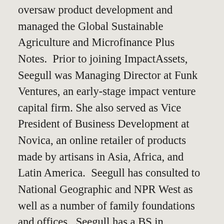oversaw product development and managed the Global Sustainable Agriculture and Microfinance Plus Notes.  Prior to joining ImpactAssets, Seegull was Managing Director at Funk Ventures, an early-stage impact venture capital firm. She also served as Vice President of Business Development at Novica, an online retailer of products made by artisans in Asia, Africa, and Latin America.  Seegull has consulted to National Geographic and NPR West as well as a number of family foundations and offices.  Seegull has a BS in Economics from Barnard College at Columbia University and an MBA from Harvard Business School. She serves on the Investment Committee of Align Impact and on the Investment Advisory Committee of RSF Social Finance.  Seegull served on the Investment Committee of the Goldhirsh Foundation and on the G7 Social Impact Investment Task Force Working Group